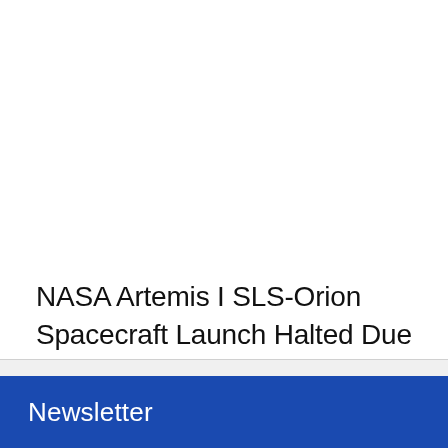NASA Artemis I SLS-Orion Spacecraft Launch Halted Due to Engine Bleed Issue: All Details
Newsletter